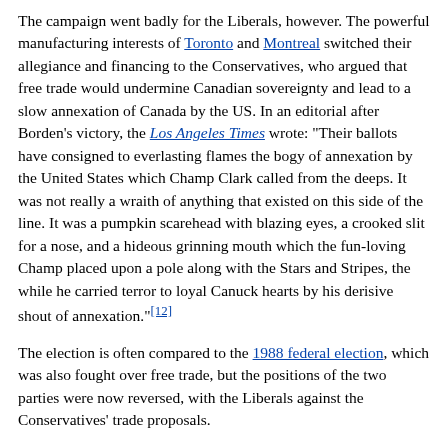The campaign went badly for the Liberals, however. The powerful manufacturing interests of Toronto and Montreal switched their allegiance and financing to the Conservatives, who argued that free trade would undermine Canadian sovereignty and lead to a slow annexation of Canada by the US. In an editorial after Borden's victory, the Los Angeles Times wrote: "Their ballots have consigned to everlasting flames the bogy of annexation by the United States which Champ Clark called from the deeps. It was not really a wraith of anything that existed on this side of the line. It was a pumpkin scarehead with blazing eyes, a crooked slit for a nose, and a hideous grinning mouth which the fun-loving Champ placed upon a pole along with the Stars and Stripes, the while he carried terror to loyal Canuck hearts by his derisive shout of annexation."[12]
The election is often compared to the 1988 federal election, which was also fought over free trade, but the positions of the two parties were now reversed, with the Liberals against the Conservatives' trade proposals.
The Conservatives dominated in Ontario, British Columbia and Manitoba. They also made significant gains in Quebec and Atlantic Canada, although the Liberals still won pluralities in both regions. The Liberals continued to dominate in Alberta and Saskatchewan,